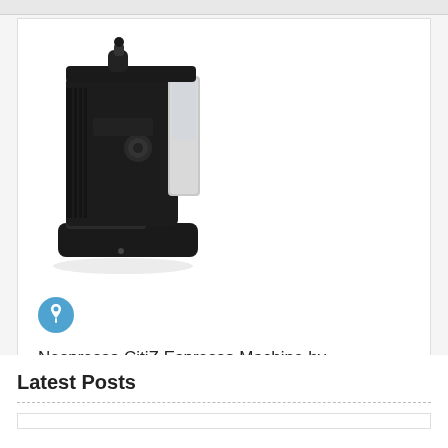[Figure (photo): Black Nespresso CitiZ espresso machine by De'Longhi, shown on white background]
Nespresso CitiZ Espresso Machine by De'Longhi, Black
May 3, 2019  0
Latest Posts